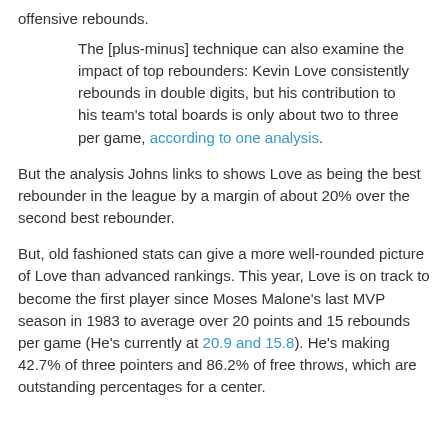offensive rebounds.
The [plus-minus] technique can also examine the impact of top rebounders: Kevin Love consistently rebounds in double digits, but his contribution to his team's total boards is only about two to three per game, according to one analysis.
But the analysis Johns links to shows Love as being the best rebounder in the league by a margin of about 20% over the second best rebounder.
But, old fashioned stats can give a more well-rounded picture of Love than advanced rankings. This year, Love is on track to become the first player since Moses Malone's last MVP season in 1983 to average over 20 points and 15 rebounds per game (He's currently at 20.9 and 15.8). He's making 42.7% of three pointers and 86.2% of free throws, which are outstanding percentages for a center.